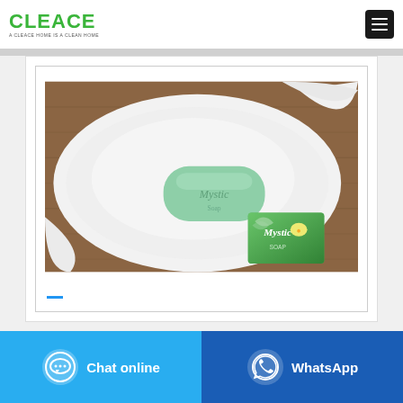CLEACE — A CLEACE HOME IS A CLEAN HOME
[Figure (photo): Mystic brand soap bar (light green) resting on a white folded towel on a wooden surface, with a packaged Mystic soap box in the foreground]
-
Chat online
WhatsApp